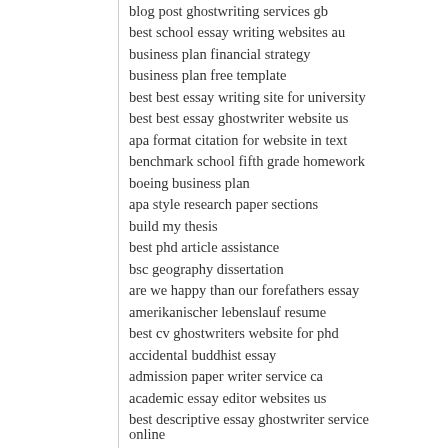blog post ghostwriting services gb
best school essay writing websites au
business plan financial strategy
business plan free template
best best essay writing site for university
best best essay ghostwriter website us
apa format citation for website in text
benchmark school fifth grade homework
boeing business plan
apa style research paper sections
build my thesis
best phd article assistance
bsc geography dissertation
are we happy than our forefathers essay
amerikanischer lebenslauf resume
best cv ghostwriters website for phd
accidental buddhist essay
admission paper writer service ca
academic essay editor websites us
best descriptive essay ghostwriter service online